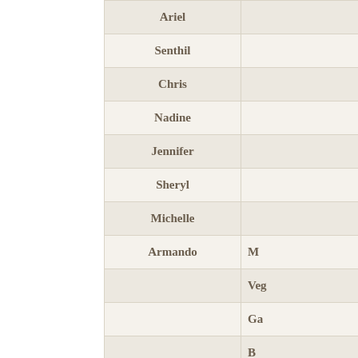| Name |  |
| --- | --- |
| Ariel |  |
| Senthil |  |
| Chris |  |
| Nadine |  |
| Jennifer |  |
| Sheryl |  |
| Michelle |  |
| Armando | M… |
|  | Veg… |
|  | Ga… |
|  | B… |